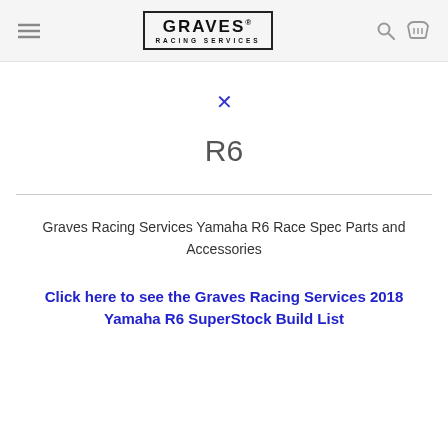GRAVES RACING SERVICES
×
R6
Graves Racing Services Yamaha R6 Race Spec Parts and Accessories
Click here to see the Graves Racing Services 2018 Yamaha R6 SuperStock Build List